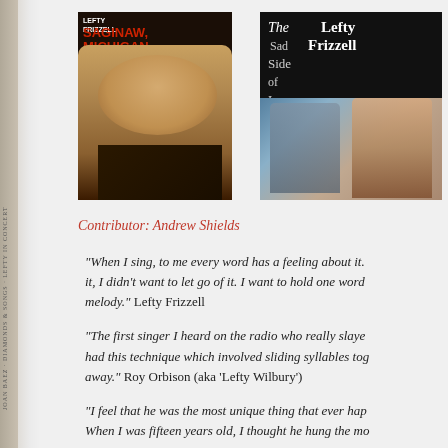[Figure (photo): Two album covers side by side. Left: Lefty Frizzell album with his portrait photo. Right: 'The Sad Side of Love' Lefty Frizzell album with dark cover and illustrated portrait.]
Contributor: Andrew Shields
"When I sing, to me every word has a feeling about it. it, I didn't want to let go of it. I want to hold one word melody." Lefty Frizzell
"The first singer I heard on the radio who really slaye had this technique which involved sliding syllables tog away." Roy Orbison (aka 'Lefty Wilbury')
"I feel that he was the most unique thing that ever hap When I was fifteen years old, I thought he hung the mo